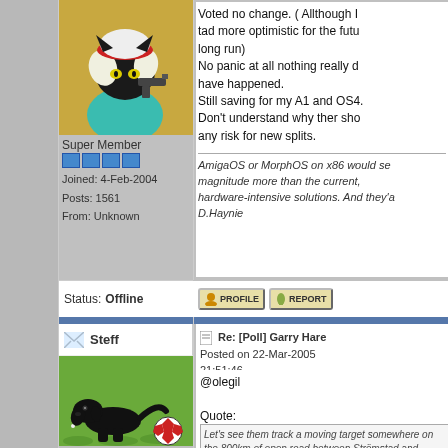[Figure (illustration): Avatar of a black cat character wearing a red and white helmet/hat, holding a gun, with white hair and a teal/turquoise top. Set against a golden/brown background.]
Super Member
Joined: 4-Feb-2004
Posts: 1561
From: Unknown
Voted no change. ( Allthough I tad more optimistic for the future in the long run)
No panic at all nothing really d... have happened.
Still saving for my A1 and OS4.
Don't understand why ther sho... any risk for new splits.
AmigaOS or MorphOS on x86 would se... magnitude more than the current, hardware-intensive solutions. And they'a... D.Haynie
Status: Offline
Re: [Poll] Garry Hare
Posted on 22-Mar-2005
21:51:46
Steff
[Figure (photo): Photo of a black Labrador puppy lying on grass next to a red and white soccer ball.]
Super Member
Joined: 11-Mar-2003
Posts: 1342
@olegil
Quote:
Let's see them track a moving target somewhere on the 800km of open road between Strömstad and Ystad. Muhaha...
Better make a detour around J... (just after Stenungsund) beca...